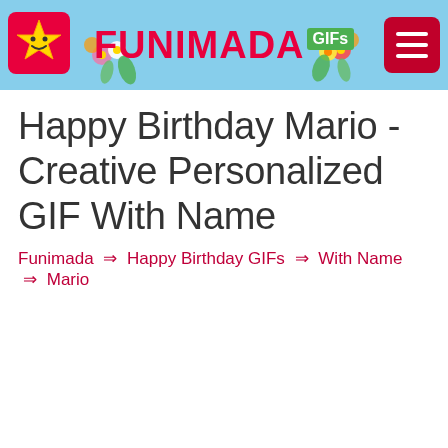FUNIMADA GIFs
Happy Birthday Mario - Creative Personalized GIF With Name
Funimada → Happy Birthday GIFs → With Name → Mario